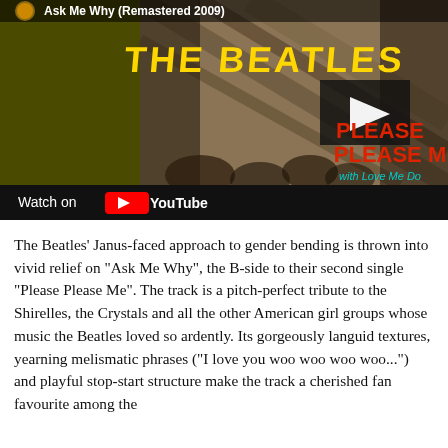[Figure (screenshot): YouTube video thumbnail showing The Beatles 'Please Please Me' album cover with the title 'Ask Me Why (Remastered 2009)' at the top, yellow 'THE BEATLES' text, four band members looking up from below, red 'PLEASE PLEASE ME' text, cyan subtitle 'with Love Me Do and 12 other songs', a play button overlay, and 'Watch on YouTube' bar at the bottom.]
The Beatles' Janus-faced approach to gender bending is thrown into vivid relief on "Ask Me Why", the B-side to their second single "Please Please Me". The track is a pitch-perfect tribute to the Shirelles, the Crystals and all the other American girl groups whose music the Beatles loved so ardently. Its gorgeously languid textures, yearning melismatic phrases ("I love you woo woo woo woo...") and playful stop-start structure make the track a cherished fan favourite among the...